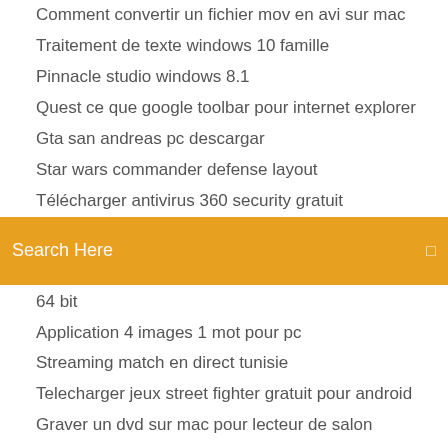Comment convertir un fichier mov en avi sur mac
Traitement de texte windows 10 famille
Pinnacle studio windows 8.1
Quest ce que google toolbar pour internet explorer
Gta san andreas pc descargar
Star wars commander defense layout
Télécharger antivirus 360 security gratuit
[Figure (other): Search bar with orange background and 'Search Here' placeholder text]
64 bit
Application 4 images 1 mot pour pc
Streaming match en direct tunisie
Telecharger jeux street fighter gratuit pour android
Graver un dvd sur mac pour lecteur de salon
Site pour télécharger des clips vidéos gratuitement
Application pour mettre video au ralenti
Comment obtenir le mot de passe wifi
Comment faire une video en accelere sur instagram
Compresser un fichier word au maximum